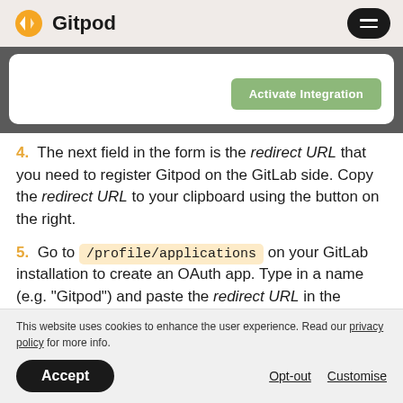Gitpod
[Figure (screenshot): Integration activation area with white card and 'Activate Integration' green button]
4. The next field in the form is the redirect URL that you need to register Gitpod on the GitLab side. Copy the redirect URL to your clipboard using the button on the right.
5. Go to /profile/applications on your GitLab installation to create an OAuth app. Type in a name (e.g. "Gitpod") and paste the redirect URL in the corresponding
This website uses cookies to enhance the user experience. Read our privacy policy for more info.
Accept   Opt-out   Customise